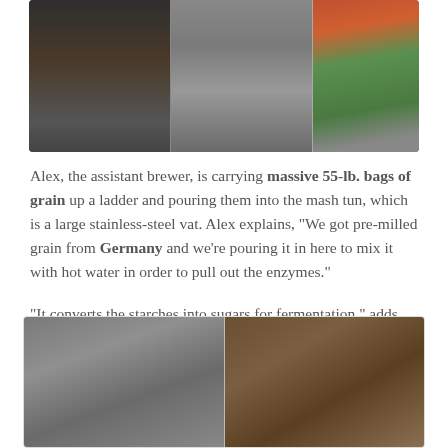[Figure (photo): Two or three side-by-side photos showing a brewery interior: a person in dark clothing near brewing equipment on the left, stainless steel vat/equipment in the middle, and colorful signage on the right.]
Alex, the assistant brewer, is carrying massive 55-lb. bags of grain up a ladder and pouring them into the mash tun, which is a large stainless-steel vat. Alex explains, "We got pre-milled grain from Germany and we're pouring it in here to mix it with hot water in order to pull out the enzymes."
"It converts the starches into sugars for fermentation," adds Jesse, who is now holding a clear plastic pitcher and mixing around salts and water with a silver ladle.
[Figure (photo): Two side-by-side photos: left shows a gray brick wall, right shows grain or spent grain material up close.]